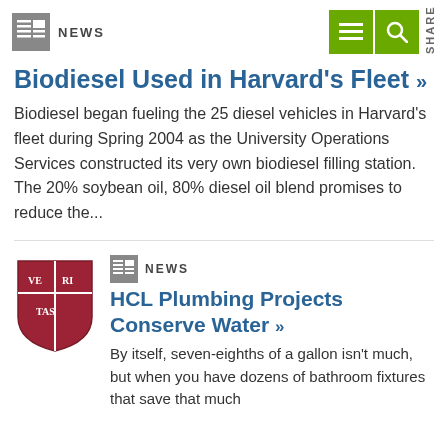NEWS
Biodiesel Used in Harvard's Fleet »
Biodiesel began fueling the 25 diesel vehicles in Harvard's fleet during Spring 2004 as the University Operations Services constructed its very own biodiesel filling station. The 20% soybean oil, 80% diesel oil blend promises to reduce the...
[Figure (logo): Harvard shield/crest logo in crimson red]
NEWS
HCL Plumbing Projects Conserve Water »
By itself, seven-eighths of a gallon isn't much, but when you have dozens of bathroom fixtures that save that much water with every flush, that should...